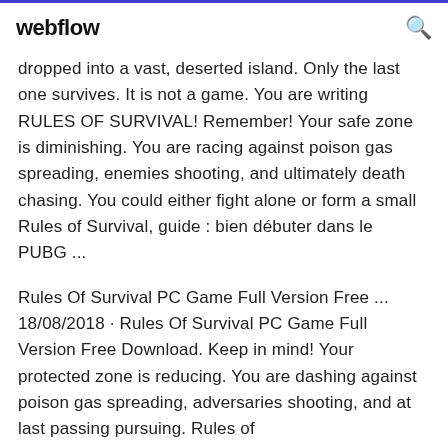webflow
dropped into a vast, deserted island. Only the last one survives. It is not a game. You are writing RULES OF SURVIVAL! Remember! Your safe zone is diminishing. You are racing against poison gas spreading, enemies shooting, and ultimately death chasing. You could either fight alone or form a small Rules of Survival, guide : bien débuter dans le PUBG ...
Rules Of Survival PC Game Full Version Free ... 18/08/2018 · Rules Of Survival PC Game Full Version Free Download. Keep in mind! Your protected zone is reducing. You are dashing against poison gas spreading, adversaries shooting, and at last passing pursuing. Rules of